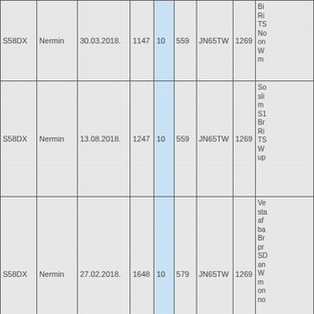|  | Name | Date | Col4 | Col5 | Col6 | Grid | Col8 | Notes |
| --- | --- | --- | --- | --- | --- | --- | --- | --- |
| S58DX | Nermin | 30.03.2018. | 1147 | 10 | 559 | JN65TW | 1269 | Ri
TS
No
on
W
m |
| S58DX | Nermin | 13.08.2018. | 1247 | 10 | 559 | JN65TW | 1269 | So
sli
m
S1
Br
Ri
TS
W
up |
| S58DX | Nermin | 27.02.2018. | 1648 | 10 | 579 | JN65TW | 1269 | Ve
sta
af
ba
Br
pr
SD
an
W
m
on
no |
|  |  |  |  |  |  |  |  | Si |